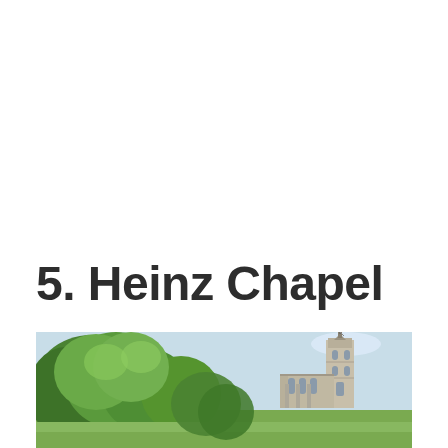5. Heinz Chapel
[Figure (photo): Exterior photograph of Heinz Chapel at the University of Pittsburgh, showing the Gothic-style stone chapel tower on the right with green trees in the foreground and a partly cloudy sky in the background.]